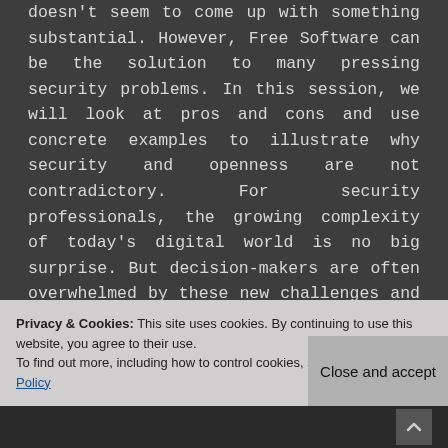doesn't seem to come up with something substantial. However, Free Software can be the solution to many pressing security problems. In this session, we will look at pros and cons and use concrete examples to illustrate why security and openness are not contradictory. For security professionals, the growing complexity of today's digital world is no big surprise. But decision-makers are often overwhelmed by these new challenges and the uncertainties they entail. As a result, many fall for cheap solutions that promise protection but don't come up with something substantial. You lose sight of a general strategy. We don't know the exact security threats in five or ten years, but it is obvious that nobody can
Privacy & Cookies: This site uses cookies. By continuing to use this website, you agree to their use. To find out more, including how to control cookies, see here: Cookie Policy
Close and accept